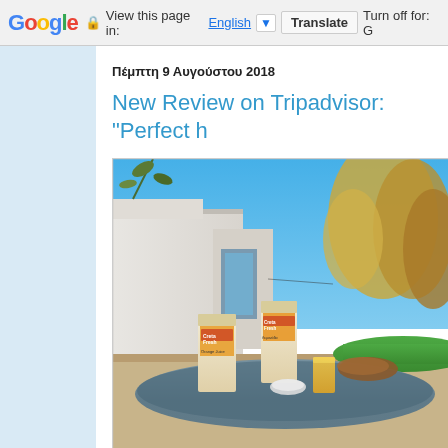Google  View this page in: English [▼]  Translate  Turn off for: G
Πέμπτη 9 Αυγούστου 2018
New Review on Tripadvisor: "Perfect h
[Figure (photo): Outdoor photo of a white Mediterranean-style building with blue sky, green trees and garden, and a breakfast table in the foreground with Creta Fresh orange juice and dairy cartons, a glass of juice, bread roll, and small dish.]